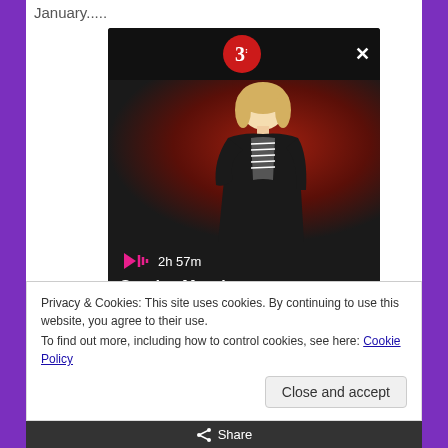January.....
[Figure (screenshot): BBC Radio 3 player card showing 'Sunday Morning' with Sarah Walker live from Sage Gateshead with special guests, 2h 57m duration, dark background with woman in black jacket on red backdrop, Radio 3 logo at top, X close button]
Privacy & Cookies: This site uses cookies. By continuing to use this website, you agree to their use.
To find out more, including how to control cookies, see here: Cookie Policy
Close and accept
Share